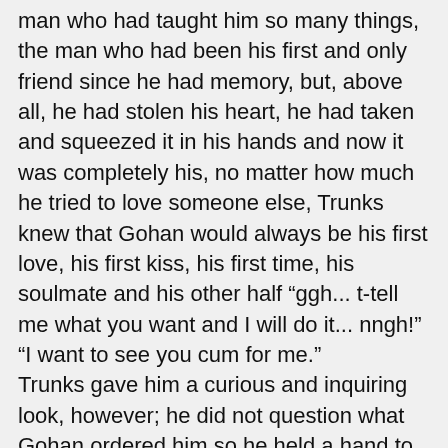man who had taught him so many things, the man who had been his first and only friend since he had memory, but, above all, he had stolen his heart, he had taken and squeezed it in his hands and now it was completely his, no matter how much he tried to love someone else, Trunks knew that Gohan would always be his first love, his first kiss, his first time, his soulmate and his other half “ggh... t-tell me what you want and I will do it... nngh!”
“I want to see you cum for me.”
Trunks gave him a curious and inquiring look, however; he did not question what Gohan ordered him so he held a hand to his own cock and began to masturbate to the rhythm of his thrusts, some lavender locks fell on his face covering his vision as the dark haired half-saiyan moaned in his ear and accelerated his rhythm even more. His hands clung desperately on the grass, tearing a little with his sweaty palms, his whole body shuddered and tensed and he was on the verge of his big...